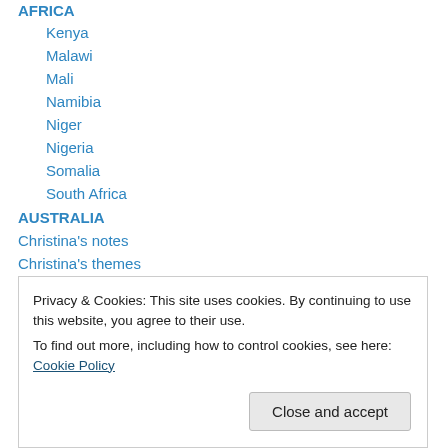AFRICA
Kenya
Malawi
Mali
Namibia
Niger
Nigeria
Somalia
South Africa
AUSTRALIA
Christina's notes
Christina's themes
culture and arts
Euk 2022
Privacy & Cookies: This site uses cookies. By continuing to use this website, you agree to their use. To find out more, including how to control cookies, see here: Cookie Policy
general